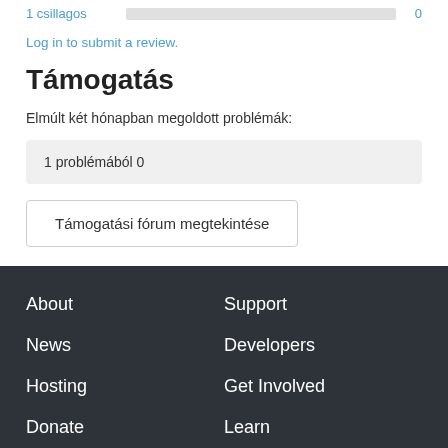1 csillagos  0
Log in to submit a review.
Támogatás
Elmúlt két hónapban megoldott problémák:
1 problémából 0
Támogatási fórum megtekintése
About  Support  News  Developers  Hosting  Get Involved  Donate  Learn